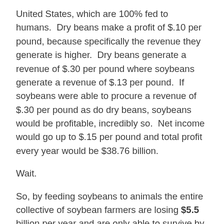United States, which are 100% fed to humans.  Dry beans make a profit of $.10 per pound, because specifically the revenue they generate is higher.  Dry beans generate a revenue of $.30 per pound where soybeans generate a revenue of $.13 per pound.  If soybeans were able to procure a revenue of $.30 per pound as do dry beans, soybeans would be profitable, incredibly so.  Net income would go up to $.15 per pound and total profit every year would be $38.76 billion.
Wait.
So, by feeding soybeans to animals the entire collective of soybean farmers are losing $5.5 billion per year and are only able to survive by government subsidy ($2.27 billion) and increased debt ($385.2 billion), yet if soybeans were sold directly for human